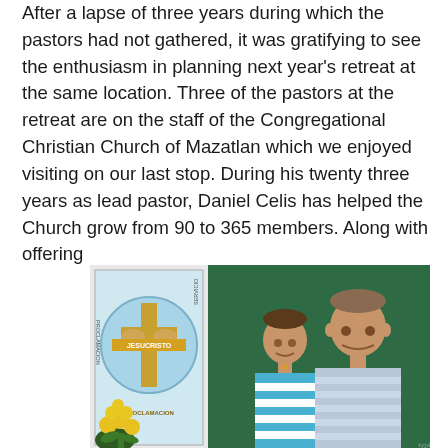After a lapse of three years during which the pastors had not gathered, it was gratifying to see the enthusiasm in planning next year's retreat at the same location. Three of the pastors at the retreat are on the staff of the Congregational Christian Church of Mazatlan which we enjoyed visiting on our last stop. During his twenty three years as lead pastor, Daniel Celis has helped the Church grow from 90 to 365 members. Along with offering
[Figure (photo): Photo of two men standing in front of a green curtain and a church banner reading 'JESUCRISTO' and 'PROCLAMACION'. Yellow flowers visible in bottom left corner. A timestamp appears in the bottom right.]